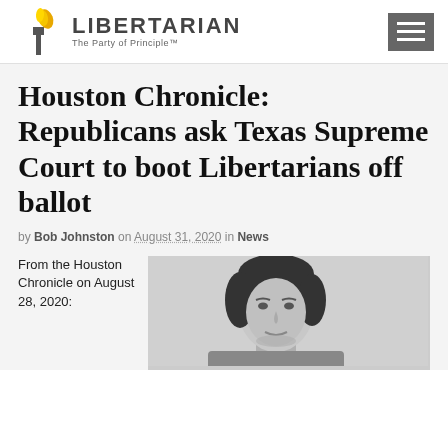LIBERTARIAN — The Party of Principle™
Houston Chronicle: Republicans ask Texas Supreme Court to boot Libertarians off ballot
by Bob Johnston on August 31, 2020 in News
From the Houston Chronicle on August 28, 2020:
[Figure (photo): Black and white portrait photo of a woman with dark hair]